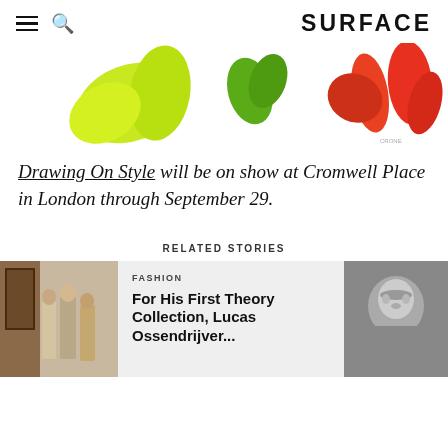SURFACE
[Figure (illustration): Abstract colorful brush stroke shapes — yellow-green organic shapes on left, red/orange brush strokes on right, on white background]
Drawing On Style will be on show at Cromwell Place in London through September 29.
RELATED STORIES
[Figure (photo): Fashion photo showing models wearing neutral toned outfits, beige and brown coats]
FASHION
For His First Theory Collection, Lucas Ossendrijver...
[Figure (photo): Black and white portrait photo of a man, Lucas Ossendrijver]
ALL STORIES   PREVIOUS   NEXT